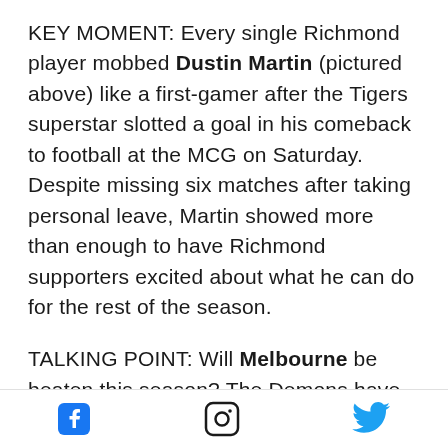KEY MOMENT: Every single Richmond player mobbed Dustin Martin (pictured above) like a first-gamer after the Tigers superstar slotted a goal in his comeback to football at the MCG on Saturday. Despite missing six matches after taking personal leave, Martin showed more than enough to have Richmond supporters excited about what he can do for the rest of the season.
TALKING POINT: Will Melbourne be beaten this season? The Demons have rarely needed to move out of second gear during their 8-0 start but have flicked the switch when it has suited
[Facebook icon] [Instagram icon] [Twitter icon]